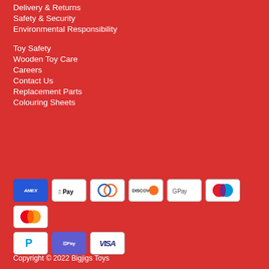Delivery & Returns
Safety & Security
Environmental Responsibility
Toy Safety
Wooden Toy Care
Careers
Contact Us
Replacement Parts
Colouring Sheets
[Figure (other): Payment method icons: American Express, Apple Pay, Diners Club, Discover, Google Pay, Maestro, Mastercard, PayPal, Shopify Pay, Visa]
Copyright © 2022 Bigjigs Toys